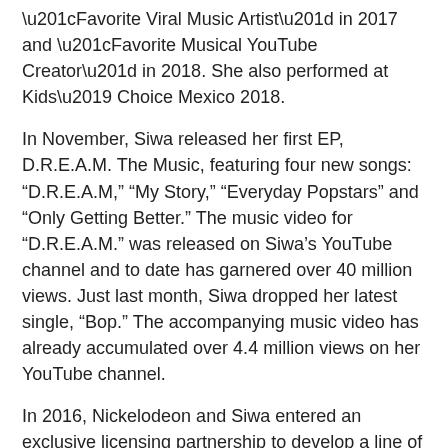“Favorite Viral Music Artist” in 2017 and “Favorite Musical YouTube Creator” in 2018. She also performed at Kids’ Choice Mexico 2018.
In November, Siwa released her first EP, D.R.E.A.M. The Music, featuring four new songs: “D.R.E.A.M,” “My Story,” “Everyday Popstars” and “Only Getting Better.” The music video for “D.R.E.A.M.” was released on Siwa’s YouTube channel and to date has garnered over 40 million views. Just last month, Siwa dropped her latest single, “Bop.” The accompanying music video has already accumulated over 4.4 million views on her YouTube channel.
In 2016, Nickelodeon and Siwa entered an exclusive licensing partnership to develop a line of consumer products inspired by Siwa. Categories span toys, apparel, accessories, consumer electronics, Halloween costumes and more. To date, over 50 million JoJo Bows have been sold. Siwa’s consumer products are available internationally, including the UK, Canada, Australia and Mexico.
Siwa launched her first animated shorts series, The JoJo &